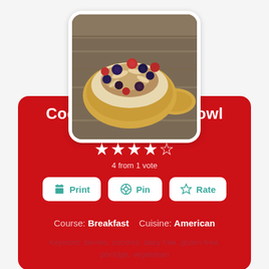[Figure (photo): A yellow ceramic bowl filled with porridge topped with blueberries, raspberries, blackberries, and sliced almonds, photographed on a wooden surface]
Coconut Porridge Bowl
4 from 1 vote
Course: Breakfast   Cuisine: American
Keyword: berries, coconut, dairy free, gluten-free, porridge, vegetarian